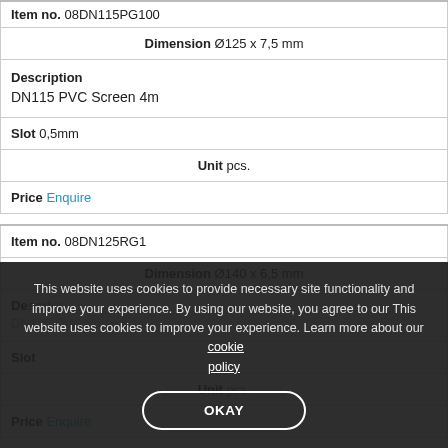| Item no. 08DN115PG100 |
| Dimension Ø125 x 7,5 mm |
| Description
DN115 PVC Screen 4m |
| Slot 0,5mm |
| Unit pcs. |
| Price Enquire |
| Item no. 08DN125RG1 |
| Dimension Ø140 x 6,5 mm |
| Description
DN125 PVC Screen 4m |
| Slot |
| Unit pcs. |
| Price Enquire |
This website uses cookies to provide necessary site functionality and improve your experience. By using our website, you agree to our This website uses cookies to improve your experience. Learn more about our cookie policy